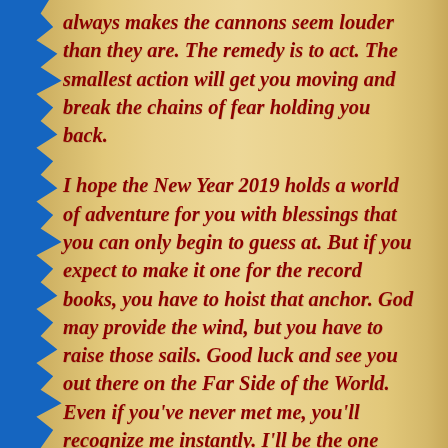always makes the cannons seem louder than they are. The remedy is to act. The smallest action will get you moving and break the chains of fear holding you back.
I hope the New Year 2019 holds a world of adventure for you with blessings that you can only begin to guess at. But if you expect to make it one for the record books, you have to hoist that anchor. God may provide the wind, but you have to raise those sails. Good luck and see you out there on the Far Side of the World. Even if you've never met me, you'll recognize me instantly. I'll be the one yelling and screaming at the top of my lungs enjoying every swell and every